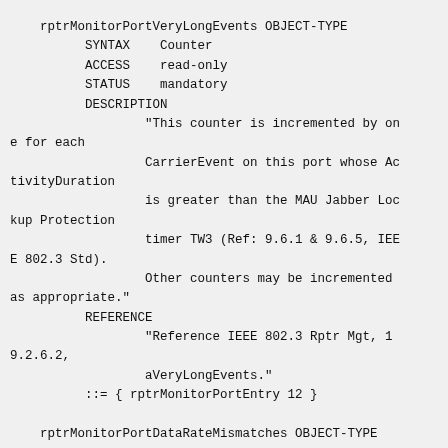rptrMonitorPortVeryLongEvents OBJECT-TYPE
        SYNTAX    Counter
        ACCESS    read-only
        STATUS    mandatory
        DESCRIPTION
                "This counter is incremented by on
e for each
                CarrierEvent on this port whose Ac
tivityDuration
                is greater than the MAU Jabber Loc
kup Protection
                timer TW3 (Ref: 9.6.1 & 9.6.5, IEE
E 802.3 Std).
                Other counters may be incremented
as appropriate."
        REFERENCE
                "Reference IEEE 802.3 Rptr Mgt, 1
9.2.6.2,
                aVeryLongEvents."
        ::= { rptrMonitorPortEntry 12 }

    rptrMonitorPortDataRateMismatches OBJECT-TYPE